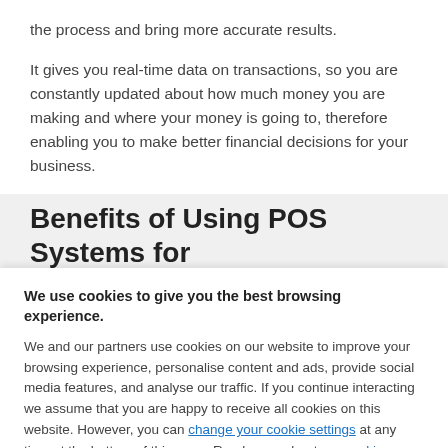the process and bring more accurate results.
It gives you real-time data on transactions, so you are constantly updated about how much money you are making and where your money is going to, therefore enabling you to make better financial decisions for your business.
Benefits of Using POS Systems for
We use cookies to give you the best browsing experience.
We and our partners use cookies on our website to improve your browsing experience, personalise content and ads, provide social media features, and analyse our traffic. If you continue interacting we assume that you are happy to receive all cookies on this website. However, you can change your cookie settings at any time at the bottom of this page. Read more about our cookie policy.